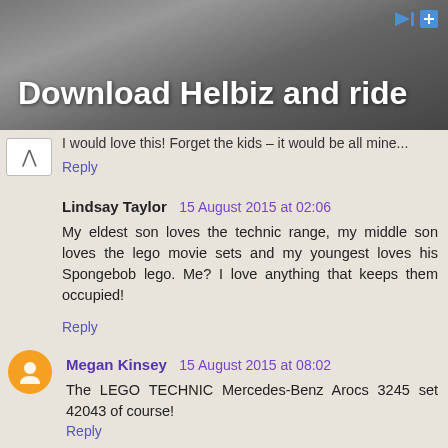[Figure (photo): Advertisement banner showing 'Download Helbiz and ride' with a scooter handlebar image in the background]
I would love this! Forget the kids – it would be all mine...
Reply
Lindsay Taylor  15 August 2015 at 02:06
My eldest son loves the technic range, my middle son loves the lego movie sets and my youngest loves his Spongebob lego. Me? I love anything that keeps them occupied!
Reply
Megan Kinsey  15 August 2015 at 08:02
The LEGO TECHNIC Mercedes-Benz Arocs 3245 set 42043 of course!
Reply